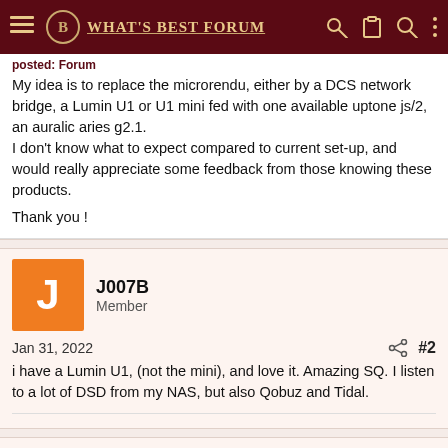What's Best Forum
My idea is to replace the microrendu, either by a DCS network bridge, a Lumin U1 or U1 mini fed with one available uptone js/2, an auralic aries g2.1.
I don't know what to expect compared to current set-up, and would really appreciate some feedback from those knowing these products.

Thank you !
J007B
Member
Jan 31, 2022
#2
i have a Lumin U1, (not the mini), and love it. Amazing SQ. I listen to a lot of DSD from my NAS, but also Qobuz and Tidal.
sbnx
Well-Known Member